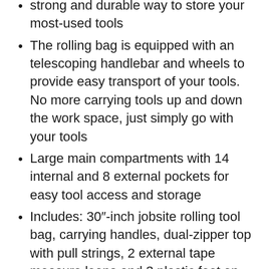strong and durable way to store your most-used tools
The rolling bag is equipped with an telescoping handlebar and wheels to provide easy transport of your tools. No more carrying tools up and down the work space, just simply go with your tools
Large main compartments with 14 internal and 8 external pockets for easy tool access and storage
Includes: 30″-inch jobsite rolling tool bag, carrying handles, dual-zipper top with pull strings, 2 external tape measure loops and 3 plastic feet on bottom